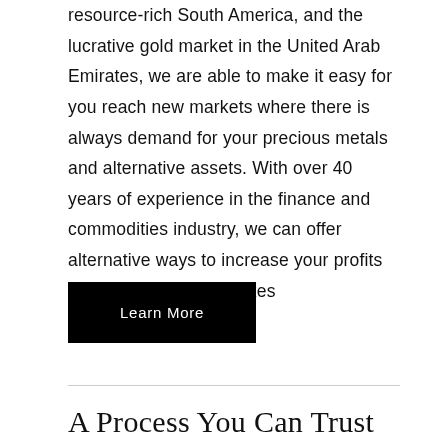resource-rich South America, and the lucrative gold market in the United Arab Emirates, we are able to make it easy for you reach new markets where there is always demand for your precious metals and alternative assets. With over 40 years of experience in the finance and commodities industry, we can offer alternative ways to increase your profits and keep more after taxes
Learn More
A Process You Can Trust